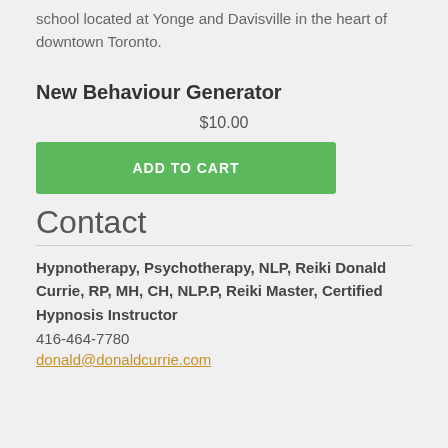school located at Yonge and Davisville in the heart of downtown Toronto.
New Behaviour Generator
$10.00
ADD TO CART
Contact
Hypnotherapy, Psychotherapy, NLP, Reiki Donald Currie, RP, MH, CH, NLP.P, Reiki Master, Certified Hypnosis Instructor
416-464-7780
donald@donaldcurrie.com